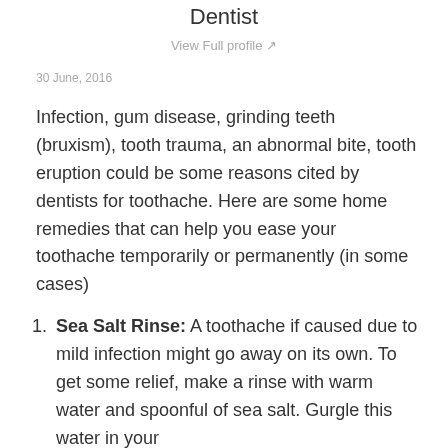Dentist
View Full profile ↗
30 June, 2016
Infection, gum disease, grinding teeth (bruxism), tooth trauma, an abnormal bite, tooth eruption could be some reasons cited by dentists for toothache. Here are some home remedies that can help you ease your toothache temporarily or permanently (in some cases)
Sea Salt Rinse: A toothache if caused due to mild infection might go away on its own. To get some relief, make a rinse with warm water and spoonful of sea salt. Gurgle this water in your